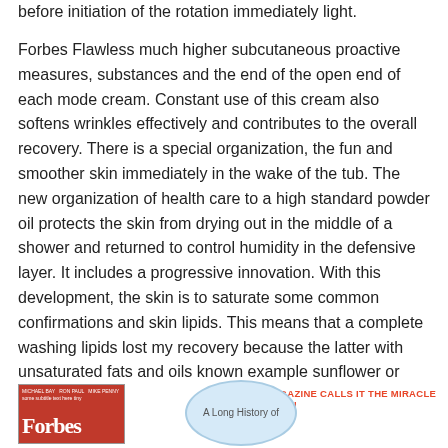before initiation of the rotation immediately light.
Forbes Flawless much higher subcutaneous proactive measures, substances and the end of the open end of each mode cream. Constant use of this cream also softens wrinkles effectively and contributes to the overall recovery. There is a special organization, the fun and smoother skin immediately in the wake of the tub. The new organization of health care to a high standard powder oil protects the skin from drying out in the middle of a shower and returned to control humidity in the defensive layer. It includes a progressive innovation. With this development, the skin is to saturate some common confirmations and skin lipids. This means that a complete washing lipids lost my recovery because the latter with unsaturated fats and oils known example sunflower or soya.
FORBES MAGAZINE CALLS IT THE MIRACLE ELIXIR OF LIFE!
[Figure (photo): Forbes magazine cover with red background and white logo text]
[Figure (other): Light blue circular badge with text 'A Long History of']